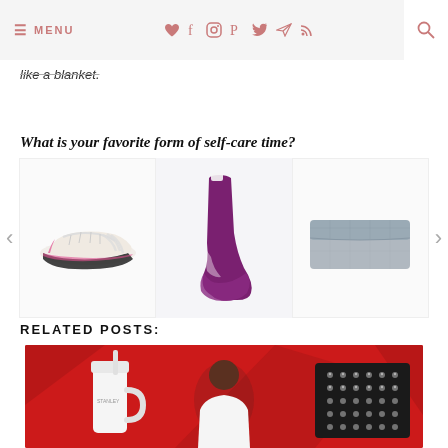≡ MENU | ♥ f ⊕ P ✦ ✈ ))) 🔍
like a blanket.
What is your favorite form of self-care time?
[Figure (illustration): Product carousel showing three items: white/pink athletic sneakers, purple ankle socks, and a grey weighted blanket. Left and right navigation arrows on sides.]
RELATED POSTS:
[Figure (photo): Red background promotional image showing a white Stanley tumbler cup with straw, a person wearing a white t-shirt, and an acupressure mat with spikes.]